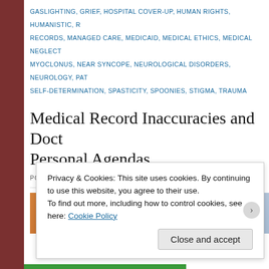GASLIGHTING, GRIEF, HOSPITAL COVER-UP, HUMAN RIGHTS, HUMANISTIC, RECORDS, MANAGED CARE, MEDICAID, MEDICAL ETHICS, MEDICAL NEGLECT, MYOCLONUS, NEAR SYNCOPE, NEUROLOGICAL DISORDERS, NEUROLOGY, PATIENT SELF-DETERMINATION, SPASTICITY, SPOONIES, STIGMA, TRAUMA
Medical Record Inaccuracies and Doctors' Personal Agendas
POSTED ON JULY 20, 2016
[Figure (photo): Partial photo showing orange and blue/white tones, appears to be a doctor or medical setting]
Privacy & Cookies: This site uses cookies. By continuing to use this website, you agree to their use.
To find out more, including how to control cookies, see here: Cookie Policy
Close and accept